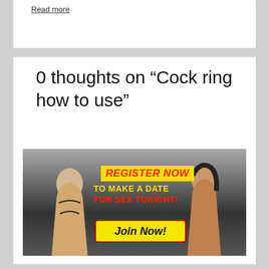Read more
0 thoughts on “Cock ring how to use”
[Figure (advertisement): Adult dating advertisement banner with two women, text 'REGISTER NOW TO MAKE A DATE FOR SEX TONIGHT!' and a yellow 'Join Now!' button]